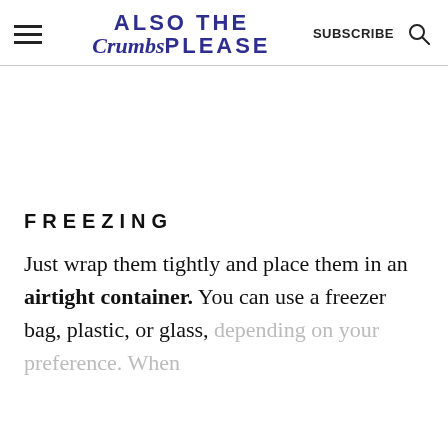ALSO THE Crumbs PLEASE  SUBSCRIBE
FREEZING
Just wrap them tightly and place them in an airtight container. You can use a freezer bag, plastic, or glass, depending on your preference. When